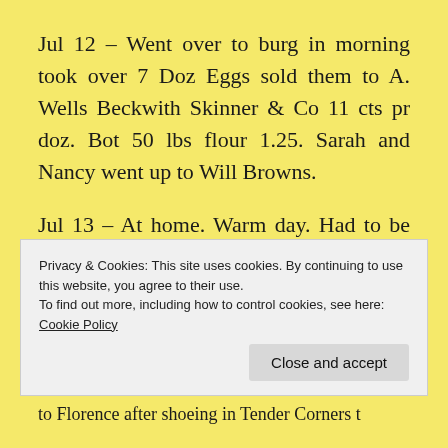Jul 12 – Went over to burg in morning took over 7 Doz Eggs sold them to A. Wells Beckwith Skinner & Co 11 cts pr doz. Bot 50 lbs flour 1.25. Sarah and Nancy went up to Will Browns.
Jul 13 – At home. Warm day. Had to be fence all day. Ed and Hannah went up to Gull Lake. Nancy thought there was a Hog around the house in night.
Privacy & Cookies: This site uses cookies. By continuing to use this website, you agree to their use.
To find out more, including how to control cookies, see here:
Cookie Policy
Close and accept
to Florence after shoeing in Tender Corners t